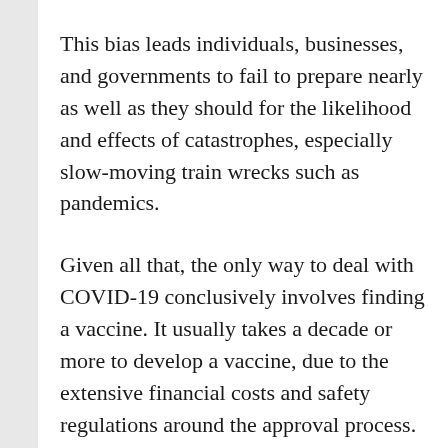This bias leads individuals, businesses, and governments to fail to prepare nearly as well as they should for the likelihood and effects of catastrophes, especially slow-moving train wrecks such as pandemics.
Given all that, the only way to deal with COVID-19 conclusively involves finding a vaccine. It usually takes a decade or more to develop a vaccine, due to the extensive financial costs and safety regulations around the approval process. Fortunately, government, market, and philanthropic forces have